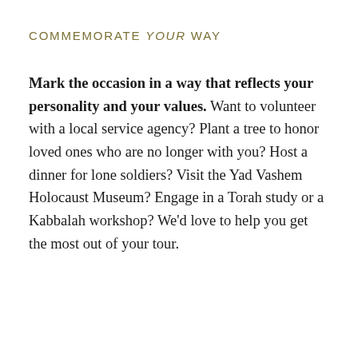COMMEMORATE YOUR WAY
Mark the occasion in a way that reflects your personality and your values. Want to volunteer with a local service agency? Plant a tree to honor loved ones who are no longer with you? Host a dinner for lone soldiers? Visit the Yad Vashem Holocaust Museum? Engage in a Torah study or a Kabbalah workshop? We'd love to help you get the most out of your tour.